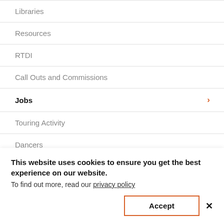Libraries
Resources
RTDI
Call Outs and Commissions
Jobs ›
Touring Activity
Dancers
Performers
This website uses cookies to ensure you get the best experience on our website. To find out more, read our privacy policy
Accept